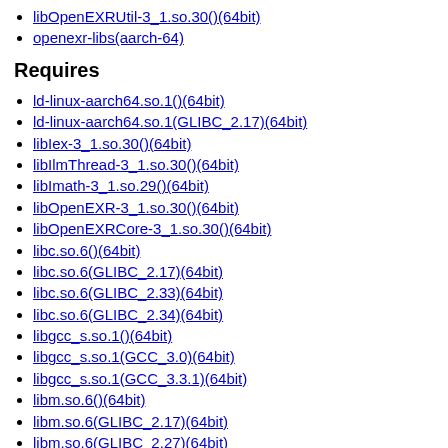libOpenEXRUtil-3_1.so.30()(64bit)
openexr-libs(aarch-64)
Requires
ld-linux-aarch64.so.1()(64bit)
ld-linux-aarch64.so.1(GLIBC_2.17)(64bit)
libIex-3_1.so.30()(64bit)
libIlmThread-3_1.so.30()(64bit)
libImath-3_1.so.29()(64bit)
libOpenEXR-3_1.so.30()(64bit)
libOpenEXRCore-3_1.so.30()(64bit)
libc.so.6()(64bit)
libc.so.6(GLIBC_2.17)(64bit)
libc.so.6(GLIBC_2.33)(64bit)
libc.so.6(GLIBC_2.34)(64bit)
libgcc_s.so.1()(64bit)
libgcc_s.so.1(GCC_3.0)(64bit)
libgcc_s.so.1(GCC_3.3.1)(64bit)
libm.so.6()(64bit)
libm.so.6(GLIBC_2.17)(64bit)
libm.so.6(GLIBC_2.27)(64bit)
libm.so.6(GLIBC_2.29)(64bit)
libstdc++.so.6()(64bit)
libstdc++.so.6(CXXABI_1.3)(64bit)